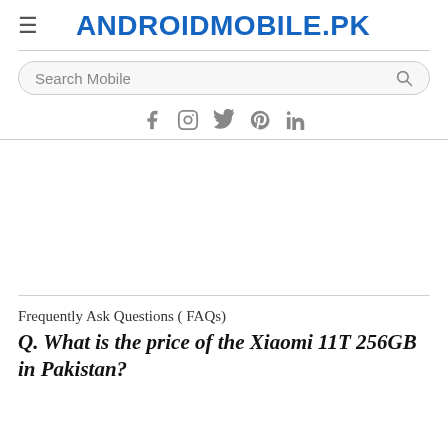ANDROIDMOBILE.PK
Search Mobile
[Figure (other): Social media icons: Facebook, Instagram, Twitter, Pinterest, LinkedIn]
[Figure (other): Advertisement / blank ad space]
Frequently Ask Questions ( FAQs)
Q. What is the price of the Xiaomi 11T 256GB in Pakistan?